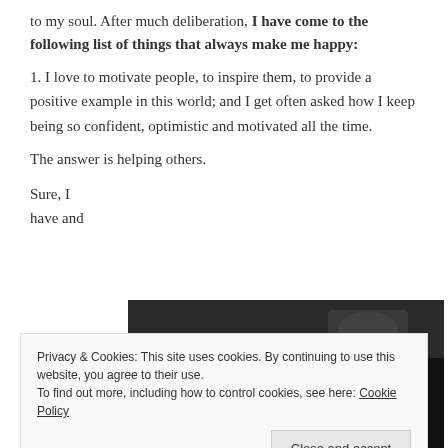to my soul. After much deliberation, I have come to the following list of things that always make me happy:
1. I love to motivate people, to inspire them, to provide a positive example in this world; and I get often asked how I keep being so confident, optimistic and motivated all the time.
The answer is helping others.
Sure, I have and
[Figure (photo): Dark photograph partially visible behind cookie banner and text]
Privacy & Cookies: This site uses cookies. By continuing to use this website, you agree to their use. To find out more, including how to control cookies, see here: Cookie Policy
Close and accept
Habits